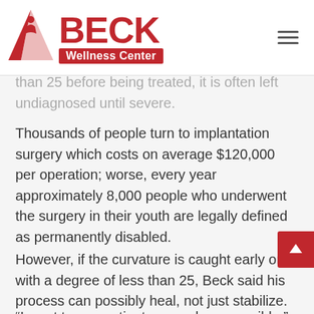Beck Wellness Center
than 25 before being treated, it is often left undiagnosed until severe.
Thousands of people turn to implantation surgery which costs on average $120,000 per operation; worse, every year approximately 8,000 people who underwent the surgery in their youth are legally defined as permanently disabled.
However, if the curvature is caught early on with a degree of less than 25, Beck said his process can possibly heal, not just stabilize.
“I want to see patients as early as possible,” he said.